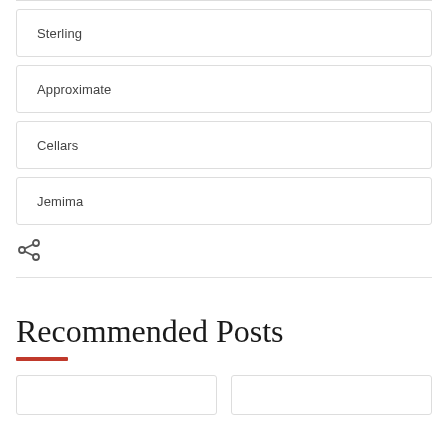Sterling
Approximate
Cellars
Jemima
Recommended Posts